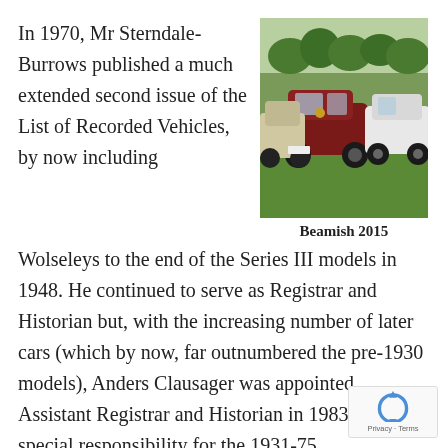In 1970, Mr Sterndale-Burrows published a much extended second issue of the List of Recorded Vehicles, by now including
[Figure (photo): Classic cars parked on grass at Beamish 2015 event, including a dark red/maroon vintage car prominently in center]
Beamish 2015
Wolseleys to the end of the Series III models in 1948. He continued to serve as Registrar and Historian but, with the increasing number of later cars (which by now, far outnumbered the pre-1930 models), Anders Clausager was appointed Assistant Registrar and Historian in 1983, having special responsibility for the 1931-75